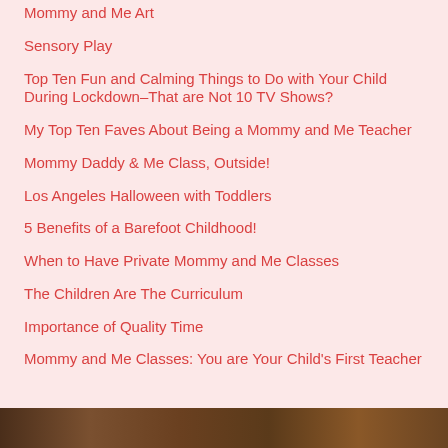Mommy and Me Art
Sensory Play
Top Ten Fun and Calming Things to Do with Your Child During Lockdown–That are Not 10 TV Shows?
My Top Ten Faves About Being a Mommy and Me Teacher
Mommy Daddy & Me Class, Outside!
Los Angeles Halloween with Toddlers
5 Benefits of a Barefoot Childhood!
When to Have Private Mommy and Me Classes
The Children Are The Curriculum
Importance of Quality Time
Mommy and Me Classes: You are Your Child's First Teacher
[Figure (photo): Photo strip at the bottom of the page showing adults and children, partially visible]